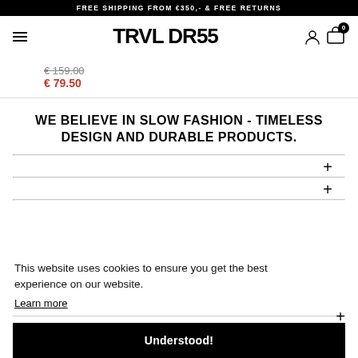FREE SHIPPING FROM €350,- & FREE RETURNS
TRVL DRSS
€ 159.00
€ 79.50
WE BELIEVE IN SLOW FASHION - TIMELESS DESIGN AND DURABLE PRODUCTS.
This website uses cookies to ensure you get the best experience on our website.
Learn more
Understood!